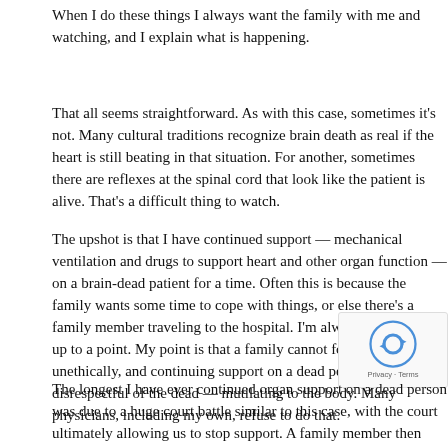When I do these things I always want the family with me and watching, and I explain what is happening.
That all seems straightforward. As with this case, sometimes it's not. Many cultural traditions recognize brain death as real if the heart is still beating in that situation. For another, sometimes there are reflexes at the spinal cord that look like the patient is alive. That's a difficult thing to watch.
The upshot is that I have continued support — mechanical ventilation and drugs to support heart and other organ function — on a brain-dead patient for a time. Often this is because the family wants some time to cope with things, or else there's a family member traveling to the hospital. I'm always OK with that, up to a point. My point is that a family cannot force me to behave unethically, and continuing support on a dead person is disrespectful of the dead — mutilating to the body. Many physicians, including my own, refuse to do that.
The longest I have ever continued organ support on a dead person was due to a huge court battle similar to this case, with the court ultimately allowing us to stop support. A family member then attempted to enter the hospital with a c
The bottom line is that, with the exception of the one case, I have always been able to mediate the situation by listening to families, being frank about what is happening and ethical, and allowing them time to grieve. I have always regarded